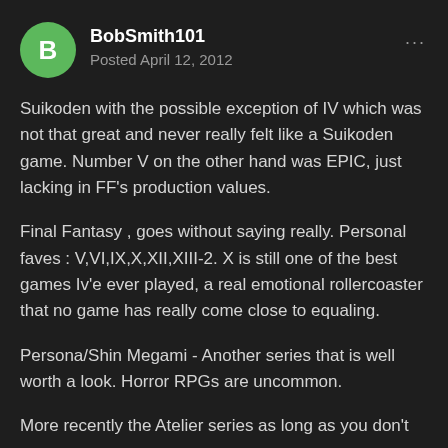BobSmith101
Posted April 12, 2012
Suikoden with the possible exception of IV which was not that great and never really felt like a Suikoden game. Number V on the other hand was EPIC, just lacking in FF's production values.
Final Fantasy , goes without saying really. Personal faves : V,VI,IX,X,XII,XIII-2. X is still one of the best games Iv'e ever played, a real emotional rollercoaster that no game has really come close to equaling.
Persona/Shin Megami - Another series that is well worth a look. Horror RPGs are uncommon.
More recently the Atelier series as long as you don't